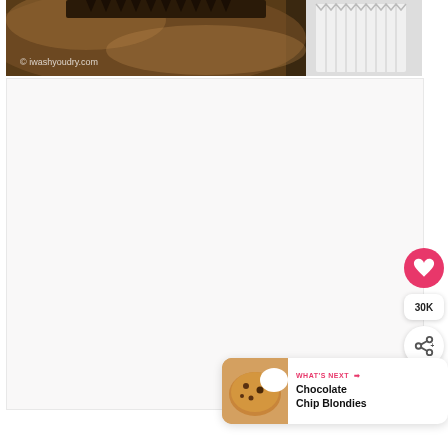[Figure (photo): Close-up photo of a vintage/rusty muffin tin with white cupcake liners, watermarked with iwashyoudry.com]
[Figure (photo): Large white/light grey blank content area below the muffin tin photo]
30K
WHAT'S NEXT → Chocolate Chip Blondies